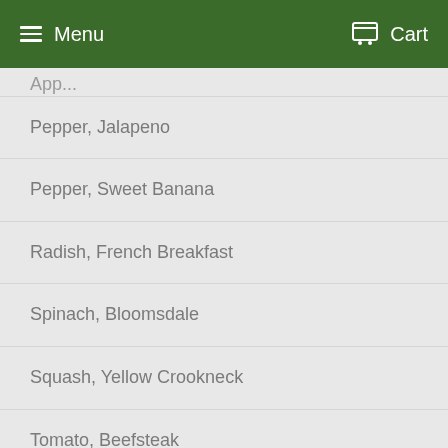Menu   Cart
Pepper, Jalapeno
Pepper, Sweet Banana
Radish, French Breakfast
Spinach, Bloomsdale
Squash, Yellow Crookneck
Tomato, Beefsteak
Tomato, Sweetie Cherry